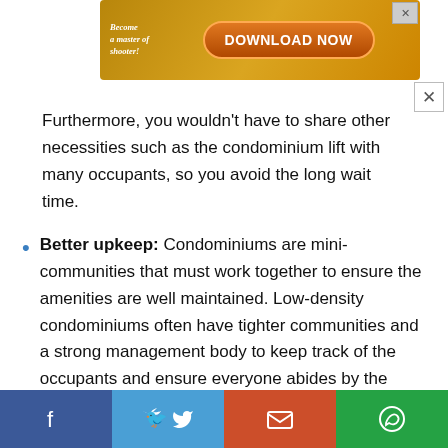[Figure (screenshot): Advertisement banner: 'Become a master of shooter! DOWNLOAD NOW' with colorful game-themed background and orange button]
Furthermore, you wouldn't have to share other necessities such as the condominium lift with many occupants, so you avoid the long wait time.
Better upkeep: Condominiums are mini-communities that must work together to ensure the amenities are well maintained. Low-density condominiums often have tighter communities and a strong management body to keep track of the occupants and ensure everyone abides by the rules. With higher density condominiums, although the maintenance fee is lower, it is harder to keep track of everyone within the building.
[Figure (infographic): Social share bar with Facebook, Twitter, Email, and WhatsApp buttons]